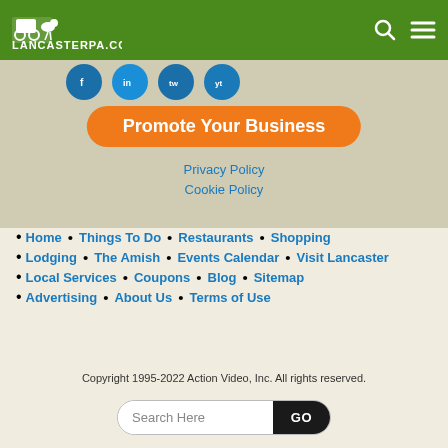LancasterPA.com
[Figure (illustration): Four teal/blue social media circle icon buttons in a row]
Promote Your Business
Privacy Policy
Cookie Policy
Home • Things To Do • Restaurants • Shopping
Lodging • The Amish • Events Calendar • Visit Lancaster
Local Services • Coupons • Blog • Sitemap
Advertising • About Us • Terms of Use
Copyright 1995-2022 Action Video, Inc. All rights reserved.